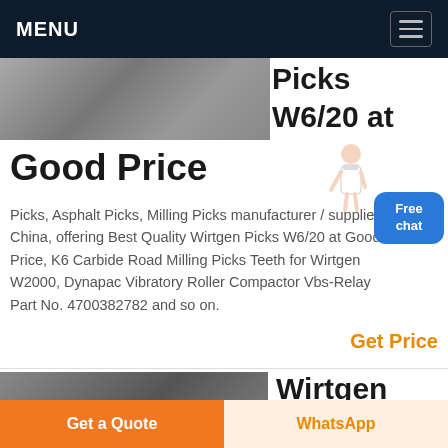MENU
[Figure (photo): Industrial machinery or equipment photo, partially visible]
Picks W6/20 at Good Price
Picks, Asphalt Picks, Milling Picks manufacturer / supplier in China, offering Best Quality Wirtgen Picks W6/20 at Good Price, K6 Carbide Road Milling Picks Teeth for Wirtgen W2000, Dynapac Vibratory Roller Compactor Vbs-Relay Part No. 4700382782 and so on.
Get Price
[Figure (photo): Industrial/Wirtgen machinery photo, partially visible]
Wirtgen